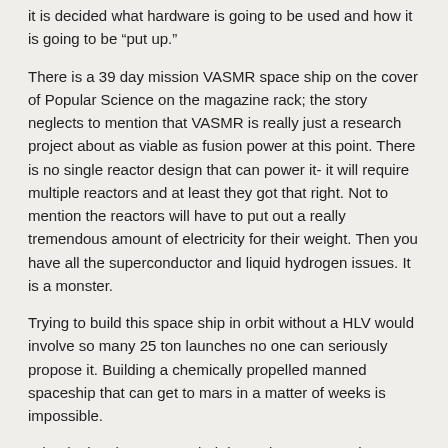it is decided what hardware is going to be used and how it is going to be “put up.”
There is a 39 day mission VASMR space ship on the cover of Popular Science on the magazine rack; the story neglects to mention that VASMR is really just a research project about as viable as fusion power at this point. There is no single reactor design that can power it- it will require multiple reactors and at least they got that right. Not to mention the reactors will have to put out a really tremendous amount of electricity for their weight. Then you have all the superconductor and liquid hydrogen issues. It is a monster.
Trying to build this space ship in orbit without a HLV would involve so many 25 ton launches no one can seriously propose it. Building a chemically propelled manned spaceship that can get to mars in a matter of weeks is impossible.
Why do they have to get their in 39 days? From what I have read their is a pretty low survival probability for any long mission due to a number of different physiological hazards.
So perhaps it might be better to talk about some technology that will make it possible before discussing actually doing it. I have read some of Bob’s stuff and he